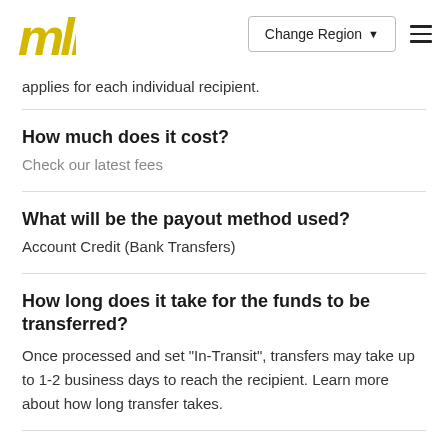Change Region
applies for each individual recipient.
How much does it cost?
Check our latest fees
What will be the payout method used?
Account Credit (Bank Transfers)
How long does it take for the funds to be transferred?
Once processed and set "In-Transit", transfers may take up to 1-2 business days to reach the recipient. Learn more about how long transfer takes.